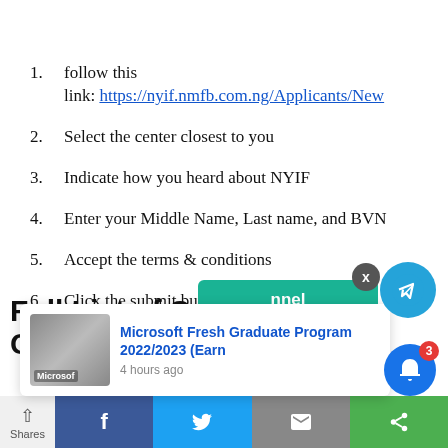follow this link: https://nyif.nmfb.com.ng/Applicants/New
Select the center closest to you
Indicate how you heard about NYIF
Enter your Middle Name, Last name, and BVN
Accept the terms & conditions
Click the submit button
Full List of Successful Candidates
[Figure (screenshot): Microsoft Fresh Graduate Program 2022/2023 advertisement card with photo and Telegram channel button overlay, notification bell, and social share bar at bottom]